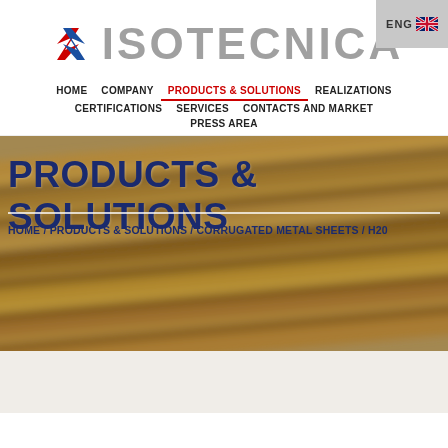[Figure (logo): Isotecnica logo with stylized arrows symbol in red and blue, and grey ISOTECNICA text]
HOME  COMPANY  PRODUCTS & SOLUTIONS  REALIZATIONS  CERTIFICATIONS  SERVICES  CONTACTS AND MARKET  PRESS AREA
[Figure (photo): Banner with blurred corrugated metal sheets background]
PRODUCTS & SOLUTIONS
HOME / PRODUCTS & SOLUTIONS / CORRUGATED METAL SHEETS / H20